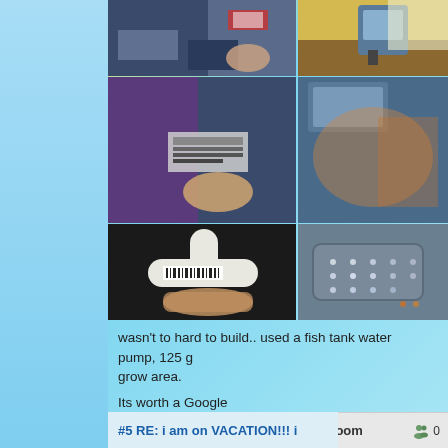[Figure (photo): Grid of 6 photos showing fish tank water pump build components including PVC pipe fittings, LED light panel, and tank equipment]
wasn't to hard to build.. used a fish tank water pump, 125 g grow area.
Its worth a Google
[Figure (screenshot): Quote button with notepad icon]
MC Chat room  0
#5 RE: i am on VACATION!!! i